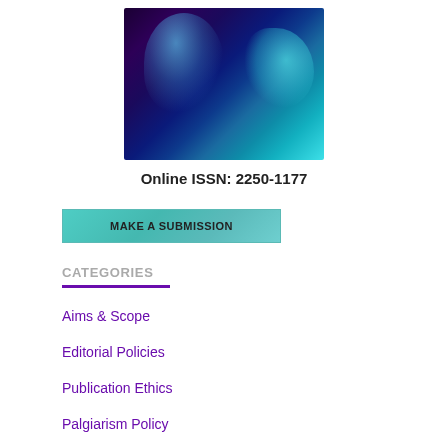[Figure (photo): Scientific journal cover image showing glowing teal/cyan bubbles and DNA-like structures against a dark purple and blue background]
Online ISSN: 2250-1177
MAKE A SUBMISSION
CATEGORIES
Aims & Scope
Editorial Policies
Publication Ethics
Palgiarism Policy